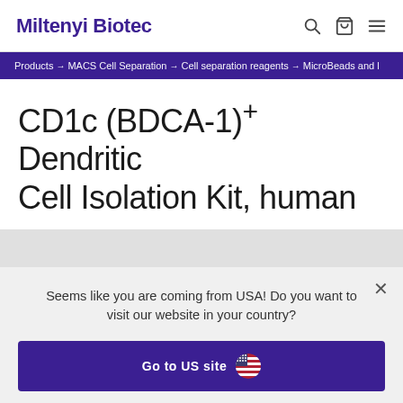Miltenyi Biotec
Products → MACS Cell Separation → Cell separation reagents → MicroBeads and l
CD1c (BDCA-1)⁺ Dendritic Cell Isolation Kit, human
Seems like you are coming from USA! Do you want to visit our website in your country?
Go to US site
Stay on Dutch site